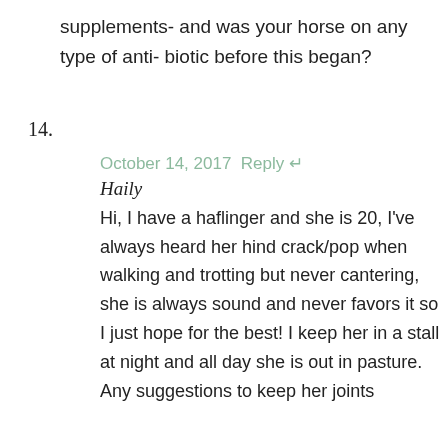supplements- and was your horse on any type of anti- biotic before this began?
14.
October 14, 2017 Reply ↵
Haily
Hi, I have a haflinger and she is 20, I've always heard her hind crack/pop when walking and trotting but never cantering, she is always sound and never favors it so I just hope for the best! I keep her in a stall at night and all day she is out in pasture. Any suggestions to keep her joints